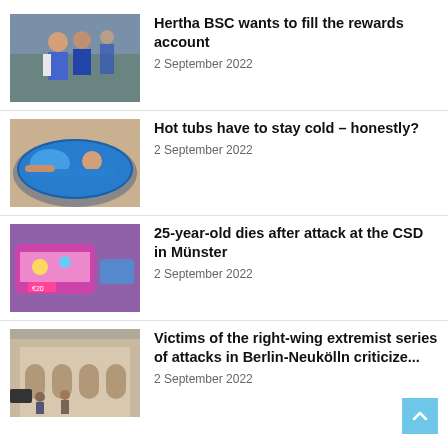[Figure (photo): Two soccer players in blue training gear talking outdoors]
Hertha BSC wants to fill the rewards account
2 September 2022
[Figure (photo): Woman relaxing in a round inflatable hot tub with blue water]
Hot tubs have to stay cold – honestly?
2 September 2022
[Figure (photo): CSD parade float decorated in pink/blue colors]
25-year-old dies after attack at the CSD in Münster
2 September 2022
[Figure (photo): People standing in front of a building, street scene]
Victims of the right-wing extremist series of attacks in Berlin-Neukölln criticize...
2 September 2022